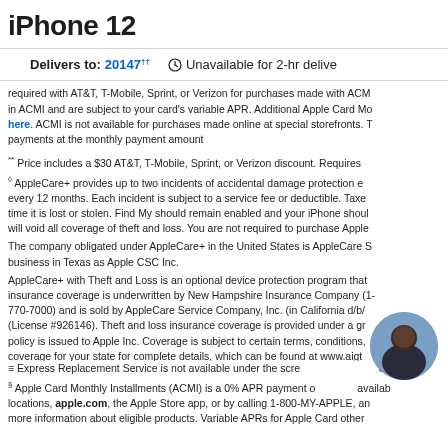iPhone 12
Delivers to: 20147†† Unavailable for 2-hr delivery
required with AT&T, T-Mobile, Sprint, or Verizon for purchases made with ACMI in ACMI and are subject to your card's variable APR. Additional Apple Card Mo here. ACMI is not available for purchases made online at special storefronts. T payments at the monthly payment amount
** Price includes a $30 AT&T, T-Mobile, Sprint, or Verizon discount. Requires
◊ AppleCare+ provides up to two incidents of accidental damage protection every 12 months. Each incident is subject to a service fee or deductible. Taxes time it is lost or stolen. Find My should remain enabled and your iPhone should will void all coverage of theft and loss. You are not required to purchase Apple
The company obligated under AppleCare+ in the United States is AppleCare S business in Texas as Apple CSC Inc.
AppleCare+ with Theft and Loss is an optional device protection program that insurance coverage is underwritten by New Hampshire Insurance Company (1-770-7000) and is sold by AppleCare Service Company, Inc. (in California d/b/ (License #926146). Theft and loss insurance coverage is provided under a group policy is issued to Apple Inc. Coverage is subject to certain terms, conditions, coverage for your state for complete details, which can be found at www.aigt
≡ Express Replacement Service is not available under the screen replacement
§ Apple Card Monthly Installments (ACMI) is a 0% APR payment option available locations, apple.com, the Apple Store app, or by calling 1-800-MY-APPLE, and more information about eligible products. Variable APRs for Apple Card other